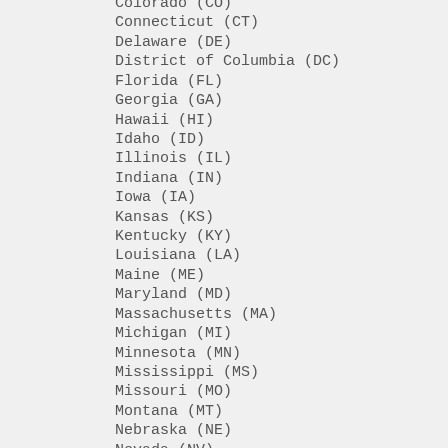Colorado (CO)
Connecticut (CT)
Delaware (DE)
District of Columbia (DC)
Florida (FL)
Georgia (GA)
Hawaii (HI)
Idaho (ID)
Illinois (IL)
Indiana (IN)
Iowa (IA)
Kansas (KS)
Kentucky (KY)
Louisiana (LA)
Maine (ME)
Maryland (MD)
Massachusetts (MA)
Michigan (MI)
Minnesota (MN)
Mississippi (MS)
Missouri (MO)
Montana (MT)
Nebraska (NE)
Nevada (NV)
New Hampshire (NH)